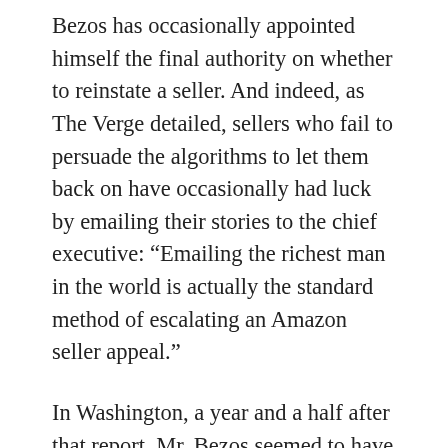Bezos has occasionally appointed himself the final authority on whether to reinstate a seller. And indeed, as The Verge detailed, sellers who fail to persuade the algorithms to let them back on have occasionally had luck by emailing their stories to the chief executive: “Emailing the richest man in the world is actually the standard method of escalating an Amazon seller appeal.”
In Washington, a year and a half after that report, Mr. Bezos seemed to have given up on reading his email. Stumbling through the hearing, he appeared to suffer from an affliction I have observed in a lot of wealthy folks from a distance since the